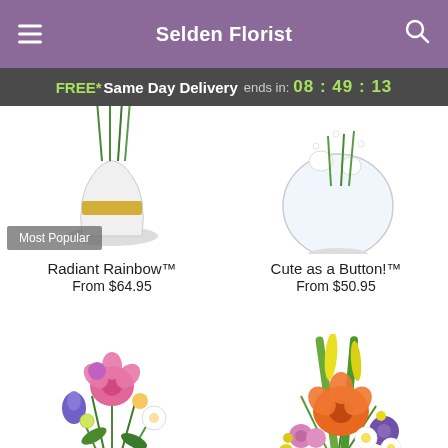Selden Florist
FREE* Same Day Delivery ends in: 08 : 49 : 13
[Figure (photo): Radiant Rainbow flower arrangement in a vase with gold ribbon band, partially cropped at top. Most Popular badge overlay.]
Radiant Rainbow™
From $64.95
[Figure (photo): Cute as a Button! flower arrangement in a round glass vase with white flowers, partially cropped at top.]
Cute as a Button!™
From $50.95
[Figure (photo): Colorful mixed flower bouquet with pink lilies, purple iris, white alstroemeria, in a white vase.]
[Figure (photo): Colorful flower basket arrangement with orange lily, purple lisianthus, pink roses, white daisy, yellow flowers.]